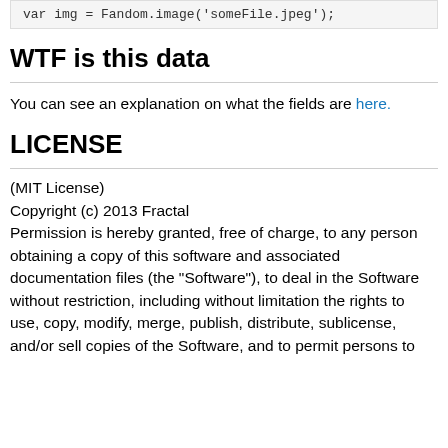var img = Fandom.image('someFile.jpeg');
WTF is this data
You can see an explanation on what the fields are here.
LICENSE
(MIT License)
Copyright (c) 2013 Fractal
Permission is hereby granted, free of charge, to any person obtaining a copy of this software and associated documentation files (the "Software"), to deal in the Software without restriction, including without limitation the rights to use, copy, modify, merge, publish, distribute, sublicense, and/or sell copies of the Software, and to permit persons to